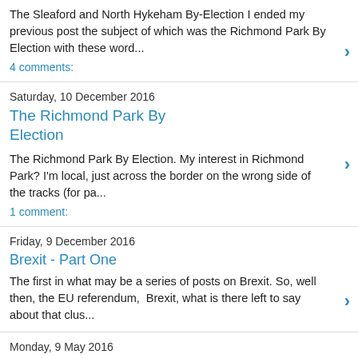The Sleaford and North Hykeham By-Election I ended my previous post the subject of which was the Richmond Park By Election with these word...
4 comments:
Saturday, 10 December 2016
The Richmond Park By Election
The Richmond Park By Election. My interest in Richmond Park? I'm local, just across the border on the wrong side of the tracks (for pa...
1 comment:
Friday, 9 December 2016
Brexit - Part One
The first in what may be a series of posts on Brexit. So, well then, the EU referendum,  Brexit, what is there left to say about that clus...
Monday, 9 May 2016